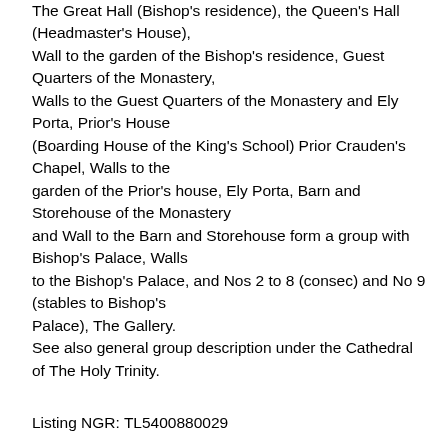The Great Hall (Bishop's residence), the Queen's Hall (Headmaster's House), Wall to the garden of the Bishop's residence, Guest Quarters of the Monastery, Walls to the Guest Quarters of the Monastery and Ely Porta, Prior's House (Boarding House of the King's School) Prior Crauden's Chapel, Walls to the garden of the Prior's house, Ely Porta, Barn and Storehouse of the Monastery and Wall to the Barn and Storehouse form a group with Bishop's Palace, Walls to the Bishop's Palace, and Nos 2 to 8 (consec) and No 9 (stables to Bishop's Palace), The Gallery. See also general group description under the Cathedral of The Holy Trinity.
Listing NGR: TL5400880029